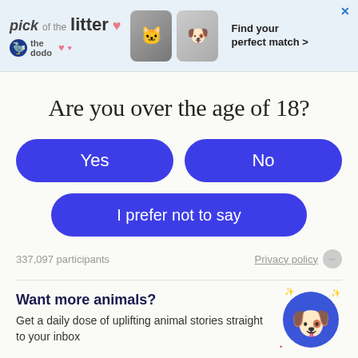[Figure (screenshot): Advertisement banner for 'pick of the litter' from The Dodo with pet photos and text 'Find your perfect match >']
Are you over the age of 18?
Yes
No
I prefer not to say
337,097 participants
Privacy policy
Want more animals?
Get a daily dose of uplifting animal stories straight to your inbox
Your Email Address